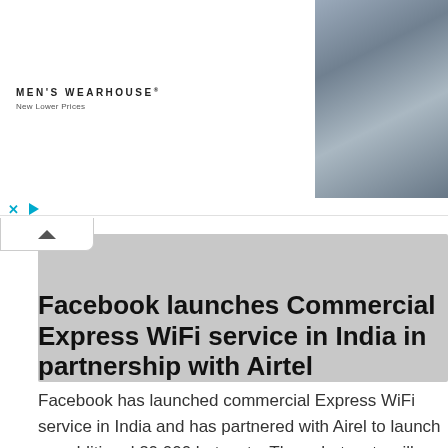[Figure (screenshot): Men's Wearhouse advertisement banner showing a couple in formal wear, with smaller side images of men in tuxedos. Text reads MEN'S WEARHOUSE New Lower Prices. Ad controls (X and play button) shown below.]
[Figure (screenshot): Gray placeholder rectangle, likely a collapsed advertisement or loading content area with a collapse chevron tab on the upper left.]
Facebook launches Commercial Express WiFi service in India in partnership with Airtel
Facebook has launched commercial Express WiFi service in India and has partnered with Airel to launch an additional 20,000 hotspots. These hotspots will begin to be deployed over the next...